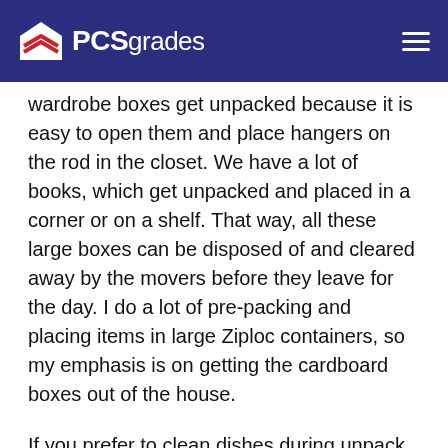PCSgrades
wardrobe boxes get unpacked because it is easy to open them and place hangers on the rod in the closet. We have a lot of books, which get unpacked and placed in a corner or on a shelf. That way, all these large boxes can be disposed of and cleared away by the movers before they leave for the day. I do a lot of pre-packing and placing items in large Ziploc containers, so my emphasis is on getting the cardboard boxes out of the house.
If you prefer to clean dishes during unpack, open up the dishwasher and place everything directly in there so dishes can be immediately washed. You can also wrap a silverware